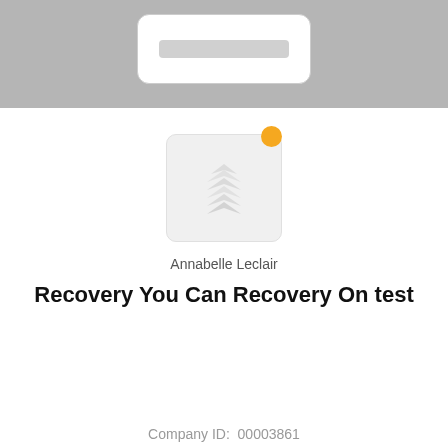[Figure (screenshot): Gray header area with a white card/input mock-up visible at the top]
[Figure (illustration): Profile avatar box with a stacked chevron/building logo icon in light gray, with an orange notification dot in the top-right corner]
Annabelle Leclair
Recovery You Can Recovery On test
Company ID:  00003861
[Figure (screenshot): CLICK TO FOLLOW button with orange border, partially obscured by a scroll-to-top popup overlay and a pink chat bubble button on the right]